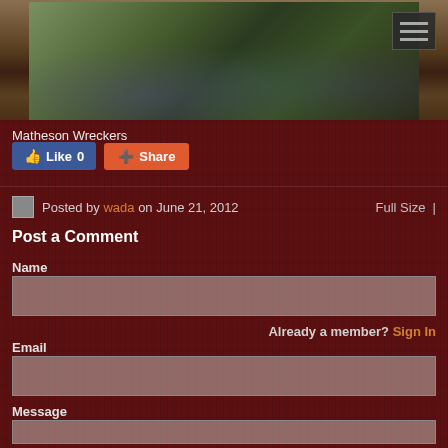[Figure (photo): Group photo of three men giving thumbs up, taken indoors with a wood-paneled background. A hamburger menu icon is visible in the top right corner.]
Matheson Wreckers
Like 0   Share
Posted by wada on June 21, 2012   Full Size |
Post a Comment
Name
Already a member? Sign In
Email
Message